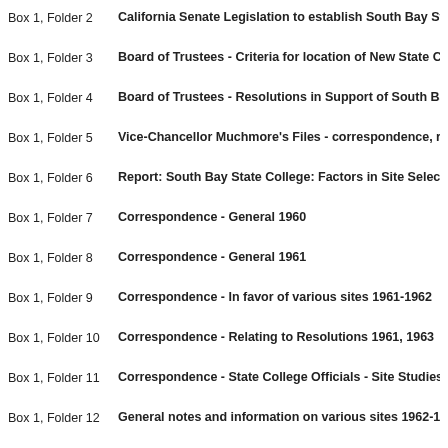Box 1, Folder 2 — California Senate Legislation to establish South Bay State College…
Box 1, Folder 3 — Board of Trustees - Criteria for location of New State Colleges 1…
Box 1, Folder 4 — Board of Trustees - Resolutions in Support of South Bay State C…
Box 1, Folder 5 — Vice-Chancellor Muchmore's Files - correspondence, reports, et…
Box 1, Folder 6 — Report: South Bay State College: Factors in Site Selection 1960…
Box 1, Folder 7 — Correspondence - General 1960
Box 1, Folder 8 — Correspondence - General 1961
Box 1, Folder 9 — Correspondence - In favor of various sites 1961-1962
Box 1, Folder 10 — Correspondence - Relating to Resolutions 1961, 1963
Box 1, Folder 11 — Correspondence - State College Officials - Site Studies and Eva…
Box 1, Folder 12 — General notes and information on various sites 1962-1965
Box 1, Folder 13 — Report: Facilities Planning Office - Site Analysis 1962-1965
Box 1, Folder 14 — Report: Palos Verdes Site Study 1961, May 17